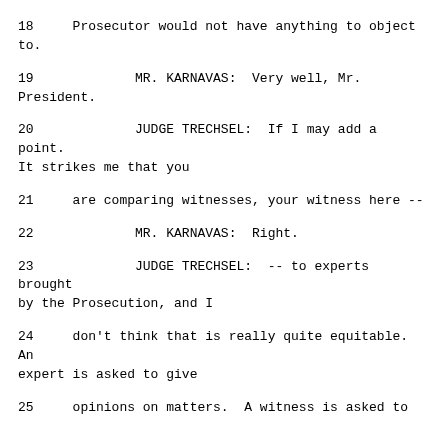18     Prosecutor would not have anything to object to.
19             MR. KARNAVAS:  Very well, Mr. President.
20             JUDGE TRECHSEL:  If I may add a point. It strikes me that you
21     are comparing witnesses, your witness here --
22             MR. KARNAVAS:  Right.
23             JUDGE TRECHSEL:  -- to experts brought by the Prosecution, and I
24     don't think that is really quite equitable.  An expert is asked to give
25     opinions on matters.  A witness is asked to